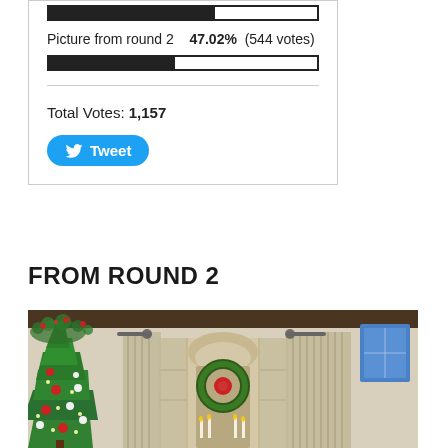Picture from round 2   47.02%  (544 votes)
Total Votes: 1,157
Tweet
FROM ROUND 2
[Figure (photo): Interior holiday scene showing a decorated Christmas tree on the left with red and white ornaments, a stone arched doorway in the center with a wreath, patterned curtain panels, wooden beam ceiling, and a blue window on the right.]